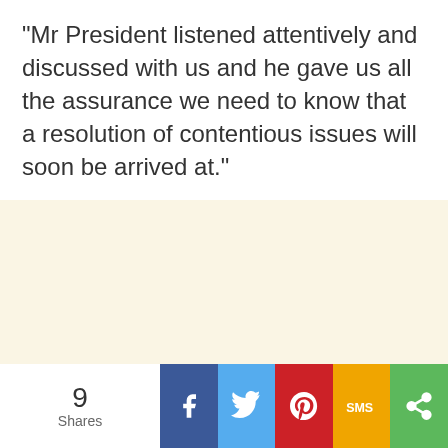“Mr President listened attentively and discussed with us and he gave us all the assurance we need to know that a resolution of contentious issues will soon be arrived at.”
[Figure (other): Cream/beige colored advertisement placeholder block]
[Figure (other): Light gray advertisement placeholder block]
9 Shares
[Figure (infographic): Social share bar with Facebook, Twitter, Pinterest, SMS, and More share buttons]